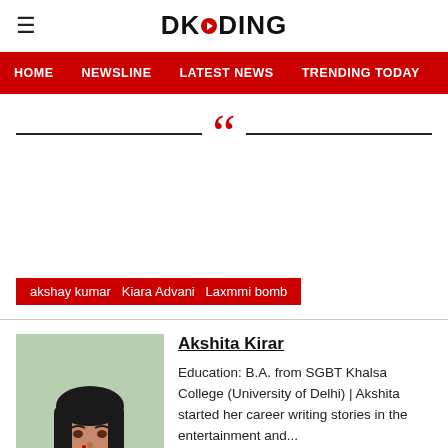DKODING
HOME  NEWSLINE  LATEST NEWS  TRENDING TODAY  ENT
[Figure (illustration): Large red open quotation mark with horizontal lines on either side as a decorative divider]
akshay kumar  Kiara Advani  Laxmmi bomb
[Figure (photo): Photo of Akshita Kirar, a young woman with long black hair wearing a light-colored top, seated indoors against a light green background]
Akshita Kirar
Education: B.A. from SGBT Khalsa College (University of Delhi) | Akshita started her career writing stories in the entertainment and...